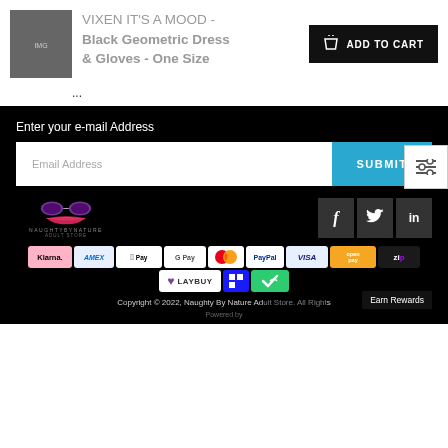[Figure (photo): Product thumbnail of a black geometric dress and gloves]
VIXEN IT'S A MOOD - Black Geometric Dress & Gloves - One Size
[Figure (other): ADD TO CART button]
...
[Figure (other): Filter/settings icon button]
Enter your e-mail Address
Email Address
SUBMIT
[Figure (logo): Naughty By Nature Adult Store logo with lips and sunglasses]
[Figure (other): Social media icons: Facebook, Twitter, LinkedIn]
[Figure (other): Payment method icons: Klarna, AMEX, Apple Pay, Google Pay, Mastercard, PayPal, VISA, Open Pay, ZIP, Laybuy, and two others]
Copyright © 2022, Naughty By Nature Adult Store. All Rights
Earn Rewards